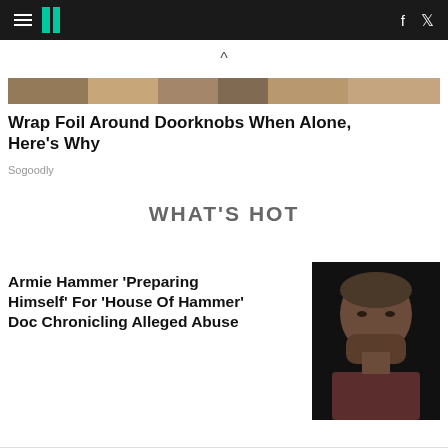HuffPost navigation bar with hamburger menu, logo, Facebook and Twitter icons
[Figure (photo): Partial cropped photo strip showing a wooden/rustic background]
Wrap Foil Around Doorknobs When Alone, Here's Why
Sogoodly
WHAT'S HOT
Armie Hammer 'Preparing Himself' For 'House Of Hammer' Doc Chronicling Alleged Abuse
[Figure (photo): Headshot of Armie Hammer, man with stubble beard against dark background]